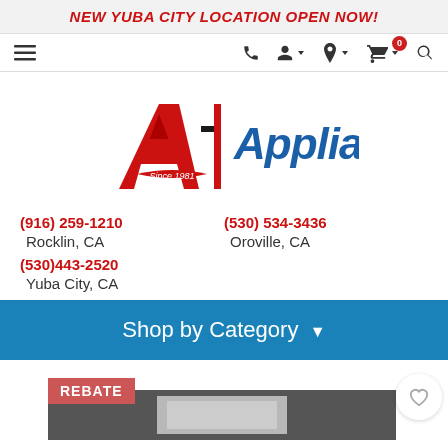NEW YUBA CITY LOCATION OPEN NOW!
[Figure (screenshot): Navigation bar with hamburger menu, phone icon, user icon with dropdown, location icon with dropdown, shopping cart with badge showing 0, and search icon]
[Figure (logo): A-1 Appliance logo with red A-1 graphic and blue Appliance text, Since 1981 banner]
(916) 259-1210
Rocklin, CA
(530)443-2520
Yuba City, CA
(530) 534-3436
Oroville, CA
Shop by Category ▼
[Figure (screenshot): Product listing area with REBATE badge, wishlist heart button, and a refrigerator/appliance product image]